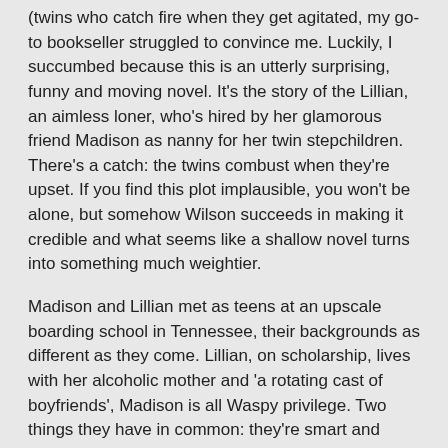(twins who catch fire when they get agitated, my go-to bookseller struggled to convince me. Luckily, I succumbed because this is an utterly surprising, funny and moving novel. It's the story of the Lillian, an aimless loner, who's hired by her glamorous friend Madison as nanny for her twin stepchildren. There's a catch: the twins combust when they're upset. If you find this plot implausible, you won't be alone, but somehow Wilson succeeds in making it credible and what seems like a shallow novel turns into something much weightier.
Madison and Lillian met as teens at an upscale boarding school in Tennessee, their backgrounds as different as they come. Lillian, on scholarship, lives with her alcoholic mother and 'a rotating cast of boyfriends', Madison is all Waspy privilege. Two things they have in common: they're smart and they're cynical.
Their ways part in a terrible manner, which I won't reveal, but they somehow stay in touch, driven by Lillian's obsession with the 'perfect' Madison. Years pass and Madison reaches out to Lillian asking for a favour. She needs a nanny to look after her stepchildren. Her wealthy, politician husband Jasper is aiming for high public office and the inconvenience of the combustible